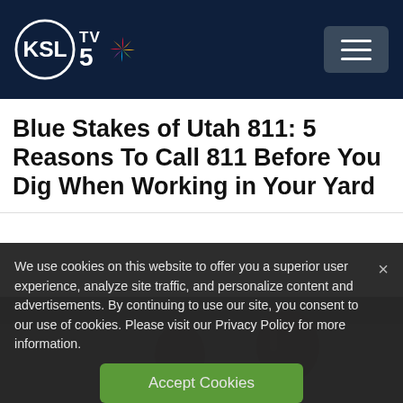KSL TV 5
Blue Stakes of Utah 811: 5 Reasons To Call 811 Before You Dig When Working in Your Yard
[Figure (photo): Partial photo of people, visible behind cookie consent overlay]
We use cookies on this website to offer you a superior user experience, analyze site traffic, and personalize content and advertisements. By continuing to use our site, you consent to our use of cookies. Please visit our Privacy Policy for more information.